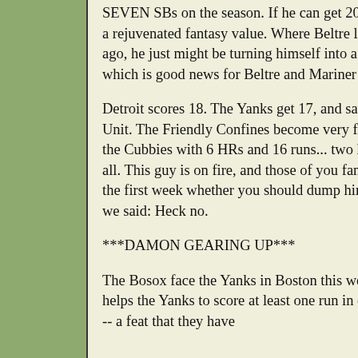SEVEN SBs on the season. If he can get 20 HRs this year and 20 SBs, he has a rejuvenated fantasy value. Where Beltre looked like Albert Pujols two years ago, he just might be turning himself into a Grady Sizemore type player, which is good news for Beltre and Mariner fans.
Detroit scores 18. The Yanks get 17, and save a pretty lousy outing by the Big Unit. The Friendly Confines become very friendly to the Brewers, who slash the Cubbies with 6 HRs and 16 runs... two homeruns for Prince Fielder says it all. This guy is on fire, and those of you fantasy folks who were asking us in the first week whether you should dump him hopefully listened to us when we said: Heck no.
***DAMON GEARING UP***
The Bosox face the Yanks in Boston this week. Damon hits 2 HRs, and he helps the Yanks to score at least one run in every inning of the 9 inning game -- a feat that they have